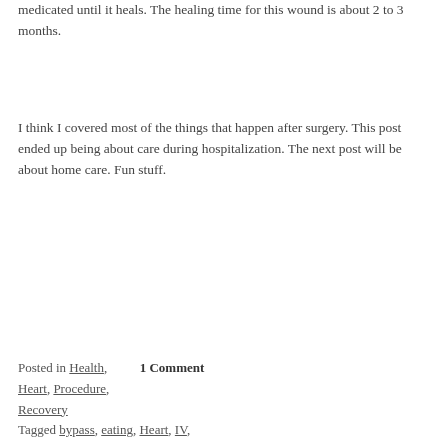medicated until it heals. The healing time for this wound is about 2 to 3 months.
I think I covered most of the things that happen after surgery. This post ended up being about care during hospitalization. The next post will be about home care. Fun stuff.
Posted in Health, Heart, Procedure, Recovery    1 Comment
Tagged bypass, eating, Heart, IV,